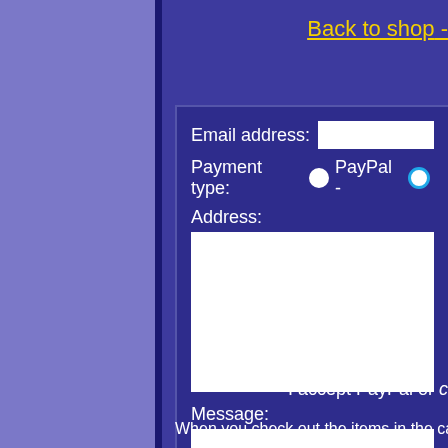Back to shop -
[Figure (screenshot): A web checkout form with fields for Email address, Payment type (PayPal radio buttons), Address textarea, Message textarea, and an Order submitted from IP text. Background is dark purple/indigo.]
I accept PayPal or c
When you check out the items in the cart c